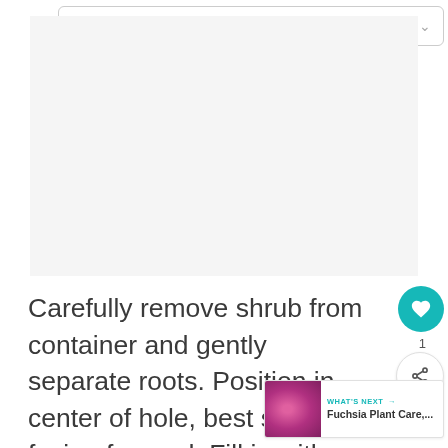[Figure (screenshot): Navigation dropdown bar showing 'Home' with a chevron/arrow on the right, followed by three pagination dots below it, and a large blank/white image area placeholder]
Carefully remove shrub from container and gently separate roots. Position in center of hole, best side facing forward. Fill in with original soil or an amended mixture if needed as described above. For large shrubs, build a water well. Finish by mulching and watering well.
[Figure (illustration): Small thumbnail image of fuchsia/pink flowers for a 'What's Next' widget showing 'Fuchsia Plant Care,...']